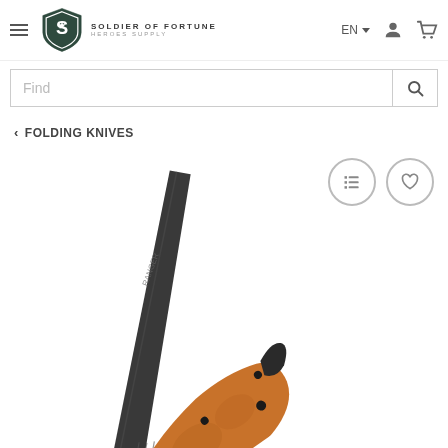[Figure (logo): Soldier of Fortune Heroes Supply logo with shield and star emblem]
EN
Find
< FOLDING KNIVES
[Figure (photo): Knife with orange/brown handle and black blade, angled diagonally]